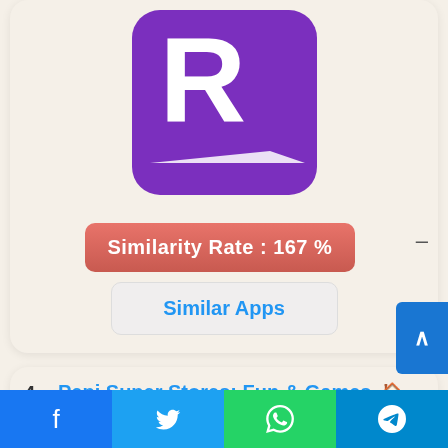[Figure (logo): Purple square logo with white letter R and white underline/swoosh, resembling a streaming or review app icon]
Similarity Rate : 167 % —
Similar Apps
4. Pepi Super Stores: Fun & Games 🏠 Join the Pepi characters and explore cool shops and cool activities in the supermarket! Become a